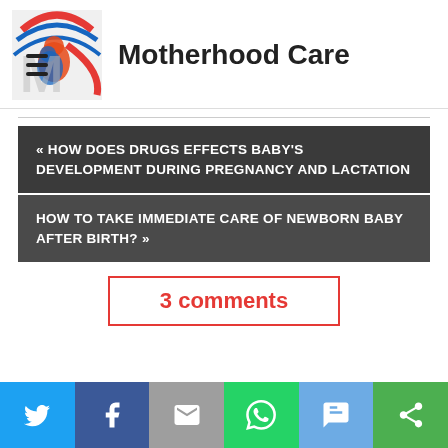Motherhood Care
« HOW DOES DRUGS EFFECTS BABY'S DEVELOPMENT DURING PREGNANCY AND LACTATION
HOW TO TAKE IMMEDIATE CARE OF NEWBORN BABY AFTER BIRTH? »
3 comments
[Figure (other): Social sharing bar with Twitter, Facebook, Email, WhatsApp, SMS, and More icons]